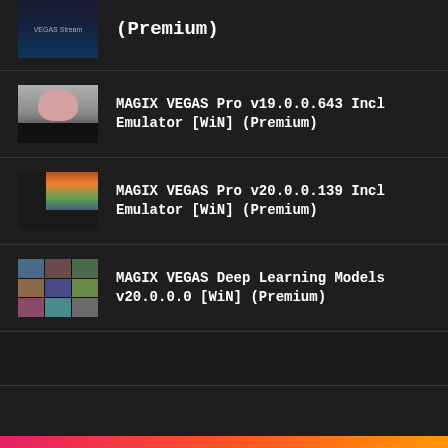(Premium) [partial, top of page]
MAGIX VEGAS Pro v19.0.0.643 Incl Emulator [WiN] (Premium)
MAGIX VEGAS Pro v20.0.0.139 Incl Emulator [WiN] (Premium)
MAGIX VEGAS Deep Learning Models v20.0.0.0 [WiN] (Premium)
[Figure (screenshot): Bottom partial entry with pink/orange gradient strip at the very bottom of page]